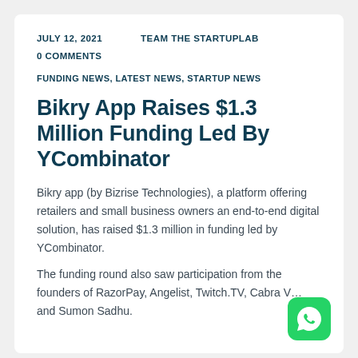JULY 12, 2021    TEAM THE STARTUPLAB
0 COMMENTS
FUNDING NEWS, LATEST NEWS, STARTUP NEWS
Bikry App Raises $1.3 Million Funding Led By YCombinator
Bikry app (by Bizrise Technologies), a platform offering retailers and small business owners an end-to-end digital solution, has raised $1.3 million in funding led by YCombinator.
The funding round also saw participation from the founders of RazorPay, Angelist, Twitch.TV, Cabra VC and Sumon Sadhu.